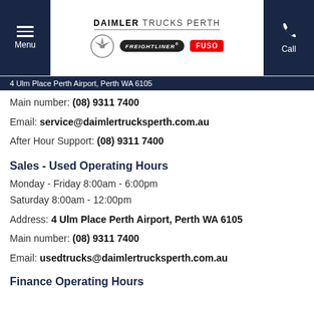DAIMLER TRUCKS PERTH — Menu | Call
4 Ulm Place Perth Airport, Perth WA 6105
Main number: (08) 9311 7400
Email: service@daimlertrucksperth.com.au
After Hour Support: (08) 9311 7400
Sales - Used Operating Hours
Monday - Friday 8:00am - 6:00pm
Saturday 8:00am - 12:00pm
Address: 4 Ulm Place Perth Airport, Perth WA 6105
Main number: (08) 9311 7400
Email: usedtrucks@daimlertrucksperth.com.au
Finance Operating Hours